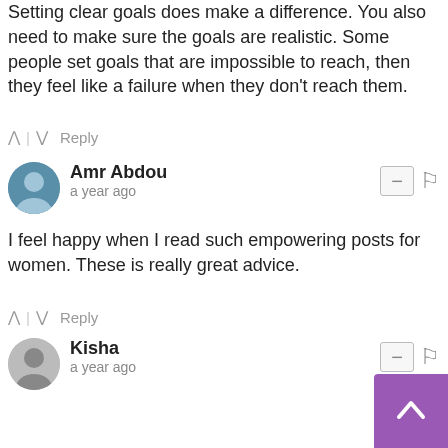Setting clear goals does make a difference. You also need to make sure the goals are realistic. Some people set goals that are impossible to reach, then they feel like a failure when they don't reach them.
^ | v  Reply
Amr Abdou
a year ago
I feel happy when I read such empowering posts for women. These is really great advice.
^ | v  Reply
Kisha
a year ago
Thanks for the advice. I need to write down my goals to make them feel more real. Just thinking about them in my head makes it feel more like a dream than something that can actually happen. Thank you
^ | v  Reply
Kuntala
a year ago